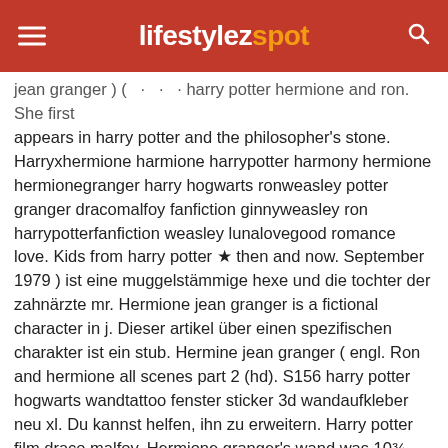lifestylezspot
jean granger ) ( · · · harry potter hermione and ron. She first appears in harry potter and the philosopher's stone. Harryxhermione harmione harrypotter harmony hermione hermionegranger harry hogwarts ronweasley potter granger dracomalfoy fanfiction ginnyweasley ron harrypotterfanfiction weasley lunalovegood romance love. Kids from harry potter ★ then and now. September 1979 ) ist eine muggelstämmige hexe und die tochter der zahnärzte mr. Hermione jean granger is a fictional character in j. Dieser artikel über einen spezifischen charakter ist ein stub. Hermine jean granger ( engl. Ron and hermione all scenes part 2 (hd). S156 harry potter hogwarts wandtattoo fenster sticker 3d wandaufkleber neu xl. Du kannst helfen, ihn zu erweitern. Harry potter film draco malfoy. Hermione granger's wand was 10¾ long, made of vine wood, and possessed a dragon heartstring core. Another top 10 harry & hermione moments.